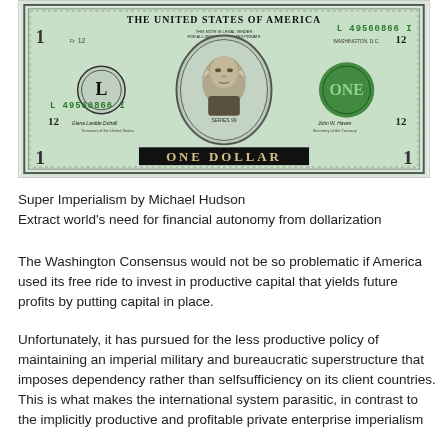[Figure (photo): A photograph of the front face of a US one dollar bill (Federal Reserve Note), showing George Washington's portrait in the center, serial number L49560866I, Federal Reserve seal with 'L' and number 12, the text 'THE UNITED STATES OF AMERICA', 'ONE DOLLAR', and various other bill markings in green and black ink.]
Super Imperialism by Michael Hudson
Extract world's need for financial autonomy from dollarization
The Washington Consensus would not be so problematic if America used its free ride to invest in productive capital that yields future profits by putting capital in place.
Unfortunately, it has pursued for the less productive policy of maintaining an imperial military and bureaucratic superstructure that imposes dependency rather than selfsufficiency on its client countries. This is what makes the international system parasitic, in contrast to the implicitly productive and profitable private enterprise imperialism